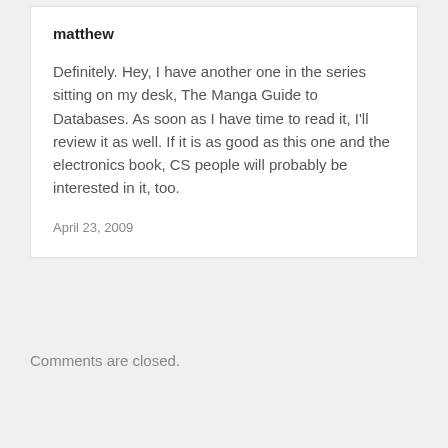matthew
Definitely. Hey, I have another one in the series sitting on my desk, The Manga Guide to Databases. As soon as I have time to read it, I'll review it as well. If it is as good as this one and the electronics book, CS people will probably be interested in it, too.
April 23, 2009
Comments are closed.